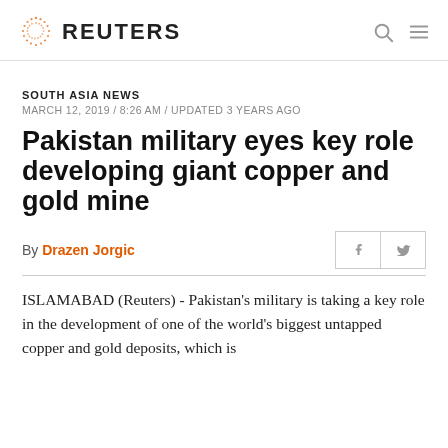REUTERS
SOUTH ASIA NEWS
MARCH 12, 2019 / 8:26 AM / UPDATED 3 YEARS AGO
Pakistan military eyes key role developing giant copper and gold mine
By Drazen Jorgic
ISLAMABAD (Reuters) - Pakistan’s military is taking a key role in the development of one of the world’s biggest untapped copper and gold deposits, which is